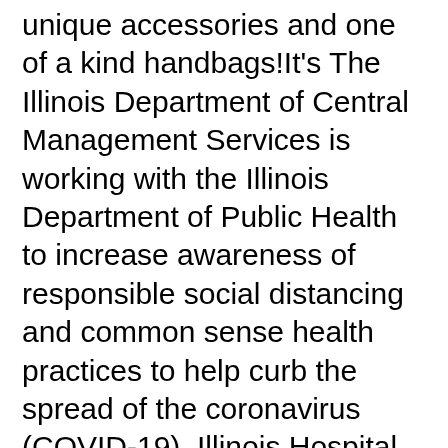unique accessories and one of a kind handbags!It's The Illinois Department of Central Management Services is working with the Illinois Department of Public Health to increase awareness of responsible social distancing and common sense health practices to help curb the spread of the coronavirus (COVID-19). Illinois Hospital Report Recently Updated The IL Public Health Community Map was updated July 20,2020 updates include: New Oral Health Measures; ED Non-traumatic Age, Race, Payer, Visit Charges. Updated measures include; Preventable Hospitalizations - Acute, Handbook for Medical Equipment and Supplies Chapter M-200 – Policy and Procedures HFS M-200 (ii) 210.6 Long Term Care Residents Service Limitations 210.7 Hospital Inpatient and Outpatient Service Limitations This year, the Illinois Tollway celebrates